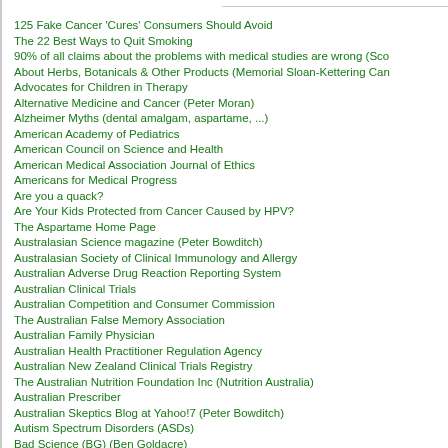125 Fake Cancer 'Cures' Consumers Should Avoid
The 22 Best Ways to Quit Smoking
90% of all claims about the problems with medical studies are wrong (Sco…
About Herbs, Botanicals & Other Products (Memorial Sloan-Kettering Can…
Advocates for Children in Therapy
Alternative Medicine and Cancer (Peter Moran)
Alzheimer Myths (dental amalgam, aspartame, ...)
American Academy of Pediatrics
American Council on Science and Health
American Medical Association Journal of Ethics
Americans for Medical Progress
Are you a quack?
Are Your Kids Protected from Cancer Caused by HPV?
The Aspartame Home Page
Australasian Science magazine (Peter Bowditch)
Australasian Society of Clinical Immunology and Allergy
Australian Adverse Drug Reaction Reporting System
Australian Clinical Trials
Australian Competition and Consumer Commission
The Australian False Memory Association
Australian Family Physician
Australian Health Practitioner Regulation Agency
Australian New Zealand Clinical Trials Registry
The Australian Nutrition Foundation Inc (Nutrition Australia)
Australian Prescriber
Australian Skeptics Blog at Yahoo!7 (Peter Bowditch)
Autism Spectrum Disorders (ASDs)
Bad Science (BG) (Ben Goldacre)
Bill & Melinda Gates Foundation